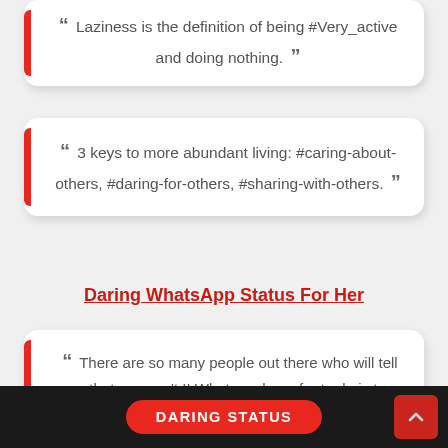“ Laziness is the definition of being #Very_active and doing nothing. ”
“ 3 keys to more abundant living: #caring-about-others, #daring-for-others, #sharing-with-others. ”
Daring WhatsApp Status For Her
“ There are so many people out there who will tell you that you can’t !! What you have for to do is turn around and say watch me !! ”
[Figure (other): Dark background image with a red pill-shaped button labeled DARING STATUS]